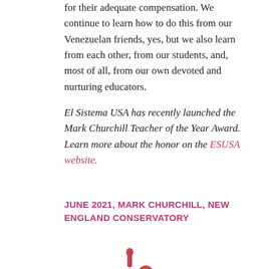for their adequate compensation. We continue to learn how to do this from our Venezuelan friends, yes, but we also learn from each other, from our students, and, most of all, from our own devoted and nurturing educators.
El Sistema USA has recently launched the Mark Churchill Teacher of the Year Award. Learn more about the honor on the ESUSA website.
JUNE 2021, MARK CHURCHILL, NEW ENGLAND CONSERVATORY
[Figure (logo): El Sistema USA logo: a violin and a French horn combined, in a gradient from orange-red to pink-magenta]